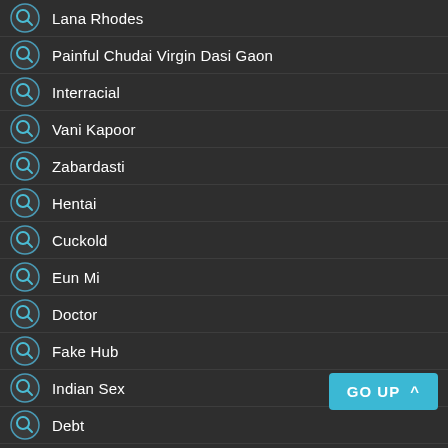Lana Rhodes
Painful Chudai Virgin Dasi Gaon
Interracial
Vani Kapoor
Zabardasti
Hentai
Cuckold
Eun Mi
Doctor
Fake Hub
Indian Sex
Debt